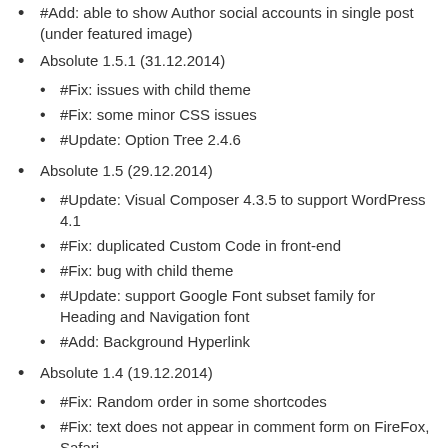#Add: able to show Author social accounts in single post (under featured image)
Absolute 1.5.1 (31.12.2014)
#Fix: issues with child theme
#Fix: some minor CSS issues
#Update: Option Tree 2.4.6
Absolute 1.5 (29.12.2014)
#Update: Visual Composer 4.3.5 to support WordPress 4.1
#Fix: duplicated Custom Code in front-end
#Fix: bug with child theme
#Update: support Google Font subset family for Heading and Navigation font
#Add: Background Hyperlink
Absolute 1.4 (19.12.2014)
#Fix: Random order in some shortcodes
#Fix: text does not appear in comment form on FireFox, Safari